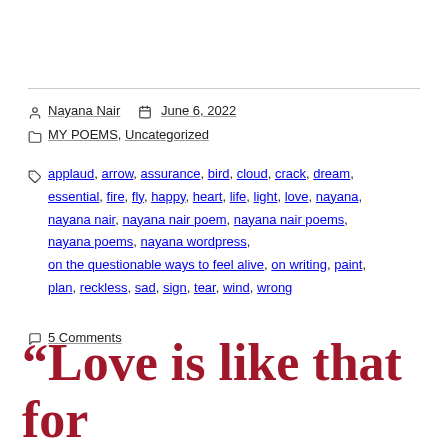Nayana Nair   June 6, 2022
MY POEMS, Uncategorized
applaud, arrow, assurance, bird, cloud, crack, dream, essential, fire, fly, happy, heart, life, light, love, nayana, nayana nair, nayana nair poem, nayana nair poems, nayana poems, nayana wordpress, on the questionable ways to feel alive, on writing, paint, plan, reckless, sad, sign, tear, wind, wrong
5 Comments
“Love is like that for